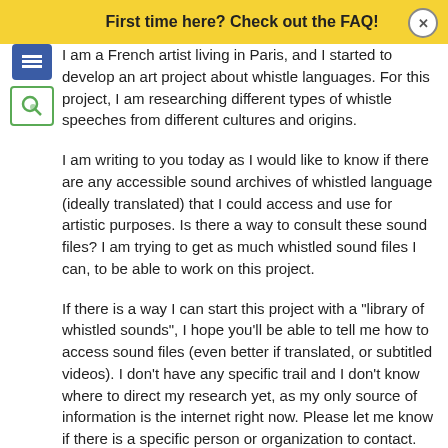First time here? Check out the FAQ!
I am a French artist living in Paris, and I started to develop an art project about whistle languages. For this project, I am researching different types of whistle speeches from different cultures and origins.
I am writing to you today as I would like to know if there are any accessible sound archives of whistled language (ideally translated) that I could access and use for artistic purposes. Is there a way to consult these sound files? I am trying to get as much whistled sound files I can, to be able to work on this project.
If there is a way I can start this project with a "library of whistled sounds", I hope you'll be able to tell me how to access sound files (even better if translated, or subtitled videos). I don't have any specific trail and I don't know where to direct my research yet, as my only source of information is the internet right now. Please let me know if there is a specific person or organization to contact.
I hope you can help me in this research,